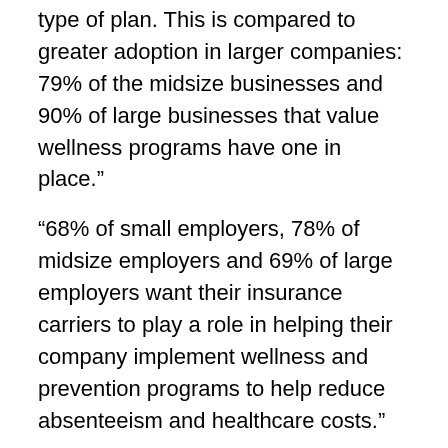type of plan. This is compared to greater adoption in larger companies: 79% of the midsize businesses and 90% of large businesses that value wellness programs have one in place.”
“68% of small employers, 78% of midsize employers and 69% of large employers want their insurance carriers to play a role in helping their company implement wellness and prevention programs to help reduce absenteeism and healthcare costs.”
“Larger companies (82%) widely believe that it is important to tailor their benefits package to meet the needs of individual employees. However, small (59%) and midsize (55%) companies are significantly less likely to agree.”
“Small (41%) and midsize (45%) employers are